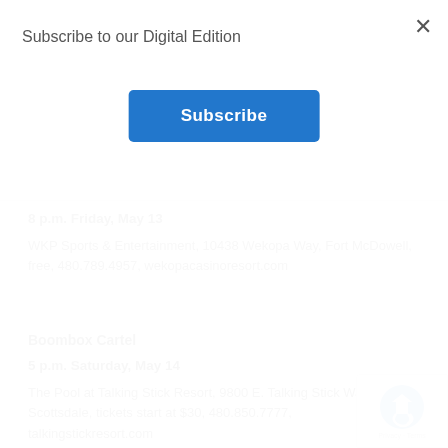Subscribe to our Digital Edition
8 p.m. Friday, May 13
WKP Sports & Entertainment, 10438 Wekopa Way, Fort McDowell, free, 480.789.4957, wekopacasinoresort.com
Boombox Cartel
5 p.m. Saturday, May 14
The Pool at Talking Stick Resort, 9800 E. Talking Stick Way, Scottsdale, tickets start at $30, 480.850.7777, talkingstickresort.com